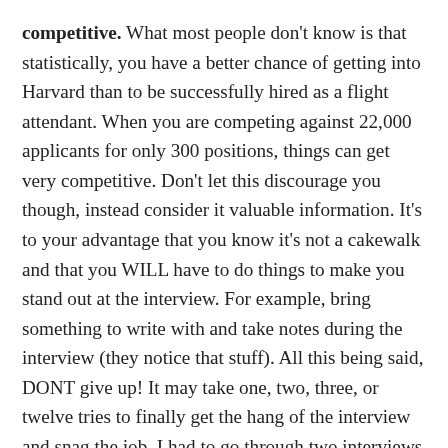competitive. What most people don't know is that statistically, you have a better chance of getting into Harvard than to be successfully hired as a flight attendant. When you are competing against 22,000 applicants for only 300 positions, things can get very competitive. Don't let this discourage you though, instead consider it valuable information. It's to your advantage that you know it's not a cakewalk and that you WILL have to do things to make you stand out at the interview. For example, bring something to write with and take notes during the interview (they notice that stuff). All this being said, DONT give up! It may take one, two, three, or twelve tries to finally get the hang of the interview and snag the job. I had to go through two interviews before I was hired. The process can be long and intimidating. It's easy to give up or not want to go back after your first interview. I almost didn't, but I'm glad I did because if I didn't decide to try again the second time, I wouldn't be where I am today. I met people at that interview who were trying for their 7th time! So whatever you do, don't give up